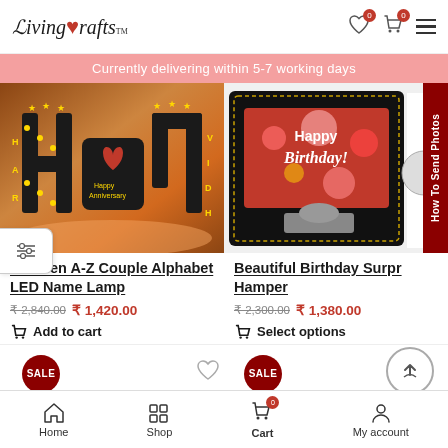LivingCrafts™ — Header with wishlist, cart (0), and menu icons
Currently delivering within 5-7 working days
[Figure (photo): Wooden A-Z LED lamp with letters H and V with heart, glowing warm lights, anniversary text]
[Figure (photo): Beautiful Birthday Surprise Hamper with Happy Birthday card, red and gold decorations]
Wooden A-Z Couple Alphabet LED Name Lamp
₹ 2,840.00  ₹ 1,420.00
Add to cart
Beautiful Birthday Surprise Hamper
₹ 2,300.00  ₹ 1,380.00
Select options
SALE
SALE
How To Send Photos
Home  Shop  Cart  My account